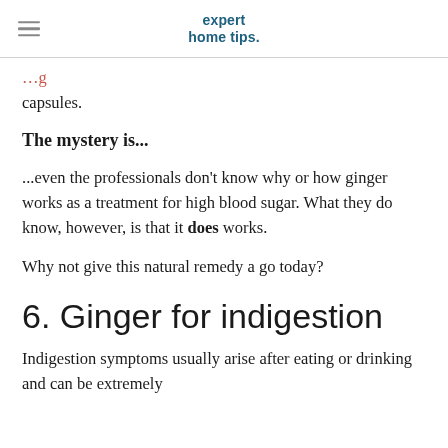expert home tips.
capsules.
The mystery is...
...even the professionals don't know why or how ginger works as a treatment for high blood sugar. What they do know, however, is that it does works.
Why not give this natural remedy a go today?
6. Ginger for indigestion
Indigestion symptoms usually arise after eating or drinking and can be extremely